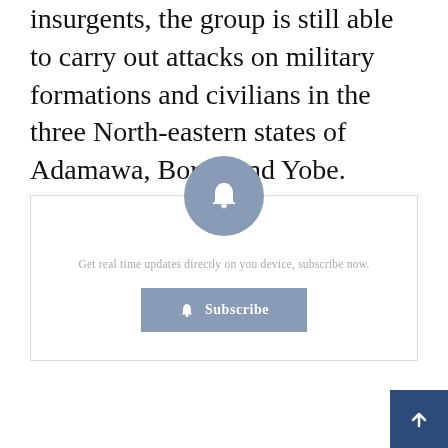insurgents, the group is still able to carry out attacks on military formations and civilians in the three North-eastern states of Adamawa, Borno and Yobe.
[Figure (infographic): Subscription prompt box with a bell icon circle, text 'Get real time updates directly on you device, subscribe now.' and a Subscribe button with bell icon]